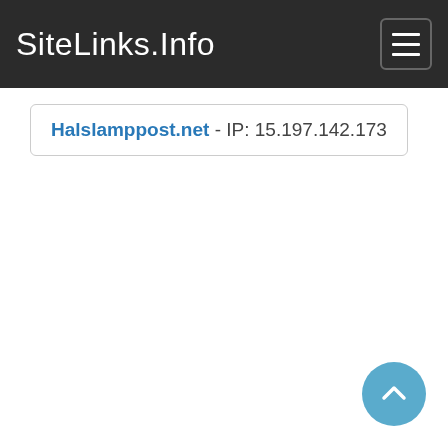SiteLinks.Info
Halslamppost.net - IP: 15.197.142.173